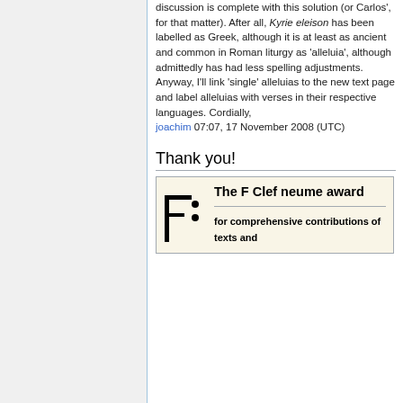discussion is complete with this solution (or Carlos', for that matter). After all, Kyrie eleison has been labelled as Greek, although it is at least as ancient and common in Roman liturgy as 'alleluia', although admittedly has had less spelling adjustments. Anyway, I'll link 'single' alleluias to the new text page and label alleluias with verses in their respective languages. Cordially, joachim 07:07, 17 November 2008 (UTC)
Thank you!
[Figure (other): The F Clef neume award box with award title 'The F Clef neume award' and description 'for comprehensive contributions of texts and' (cut off), along with an F clef neume icon at the bottom left.]